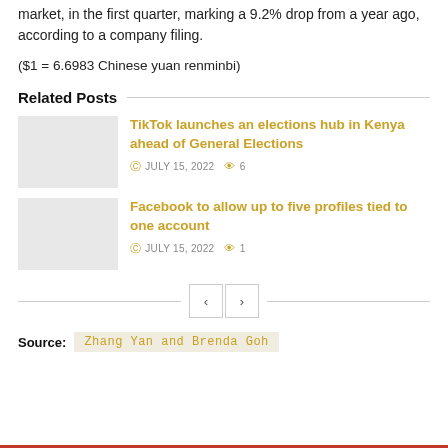market, in the first quarter, marking a 9.2% drop from a year ago, according to a company filing.
($1 = 6.6983 Chinese yuan renminbi)
Related Posts
TikTok launches an elections hub in Kenya ahead of General Elections — JULY 15, 2022 — 6 views
Facebook to allow up to five profiles tied to one account — JULY 15, 2022 — 1 view
< >
Source: Zhang Yan and Brenda Goh